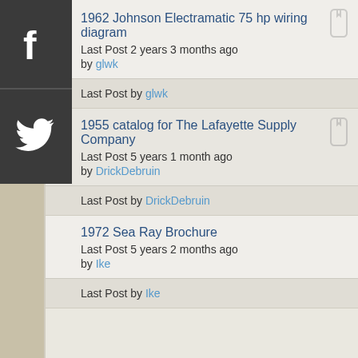[Figure (other): Facebook and Twitter social media icons in dark grey bar on left side]
1962 Johnson Electramatic 75 hp wiring diagram
Last Post 2 years 3 months ago
by glwk
Last Post by glwk
1955 catalog for The Lafayette Supply Company
Last Post 5 years 1 month ago
by DrickDebruin
Last Post by DrickDebruin
1972 Sea Ray Brochure
Last Post 5 years 2 months ago
by Ike
Last Post by Ike